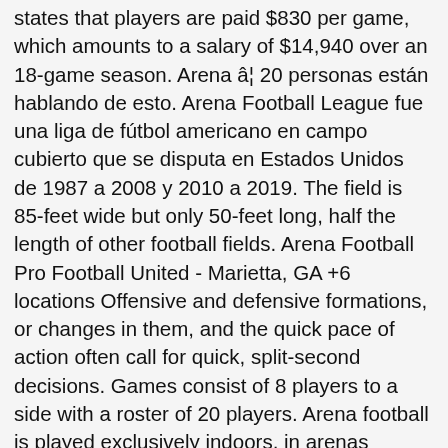states that players are paid $830 per game, which amounts to a salary of $14,940 over an 18-game season. Arena â¦ 20 personas están hablando de esto. Arena Football League fue una liga de fútbol americano en campo cubierto que se disputa en Estados Unidos de 1987 a 2008 y 2010 a 2019. The field is 85-feet wide but only 50-feet long, half the length of other football fields. Arena Football Pro Football United - Marietta, GA +6 locations Offensive and defensive formations, or changes in them, and the quick pace of action often call for quick, split-second decisions. Games consist of 8 players to a side with a roster of 20 players. Arena football is played exclusively indoors, in arenas usually designed for either basketball or ice hockey teams. The dasherboards (walls surrounding the field) are padded. 4 â¦ The Star Tours presented by SeatGeek allow fans to connect with the team in ways they never imagined. Venden cara la derrota Learn HOW . AFL has gone a long way since â now with extensive promotions and coverage, AFL averages about 12,000 spectators per game. During the AFL season, players will spend time reviewing game film, learning plays and